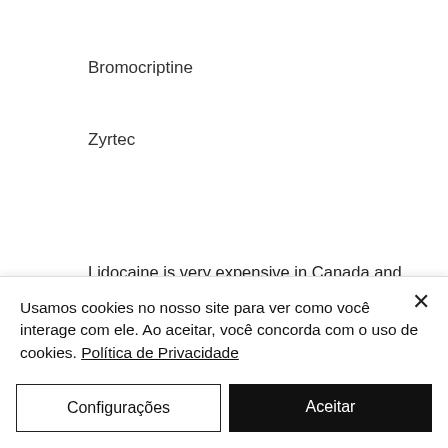Bromocriptine
Zyrtec
Lidocaine is very expensive in Canada and this has a couple of different forms. It can be used to relieve stuff such as pain, itching, soreness, fever, etc, oral anabolic steroid. It's also often a pain reliever, and can be injected into the vein or into the muscles. You can get it for about $2-$5 online in Canada, but can get it for less in some cities
Usamos cookies no nosso site para ver como você interage com ele. Ao aceitar, você concorda com o uso de cookies. Política de Privacidade
Configurações
Aceitar